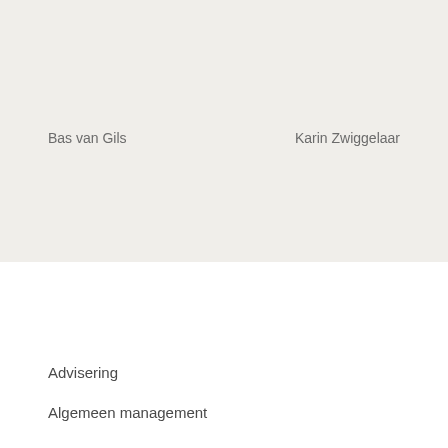Bas van Gils
Karin Zwiggelaar
Advisering →
Algemeen management →